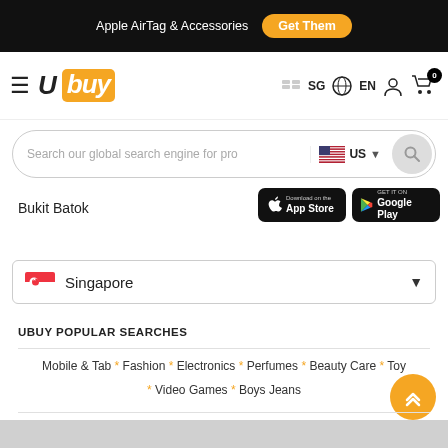Apple AirTag & Accessories  Get Them
[Figure (logo): Ubuy logo with hamburger menu, SG country selector, EN language, user icon, cart icon with badge 0]
[Figure (screenshot): Search bar with placeholder 'Search our global search engine for pro', US flag dropdown, search button]
Bukit Batok
[Figure (screenshot): Download on the App Store button and Get it on Google Play button]
[Figure (screenshot): Singapore country selector dropdown]
UBUY POPULAR SEARCHES
Mobile & Tab * Fashion * Electronics * Perfumes * Beauty Care * Toys * Video Games * Boys Jeans